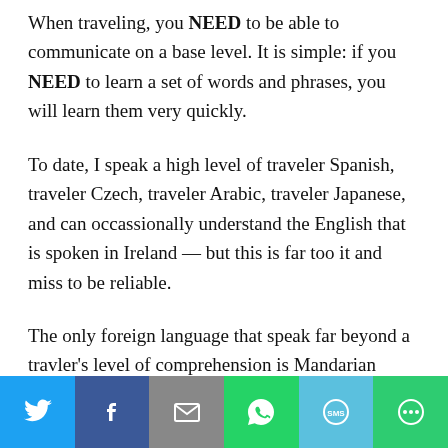When traveling, you NEED to be able to communicate on a base level. It is simple: if you NEED to learn a set of words and phrases, you will learn them very quickly.
To date, I speak a high level of traveler Spanish, traveler Czech, traveler Arabic, traveler Japanese, and can occassionally understand the English that is spoken in Ireland — but this is far too it and miss to be reliable.
The only foreign language that speak far beyond a travler's level of comprehension is Mandarian Chinese
[Figure (infographic): Social sharing bar with Twitter, Facebook, Email, WhatsApp, SMS, and More buttons]